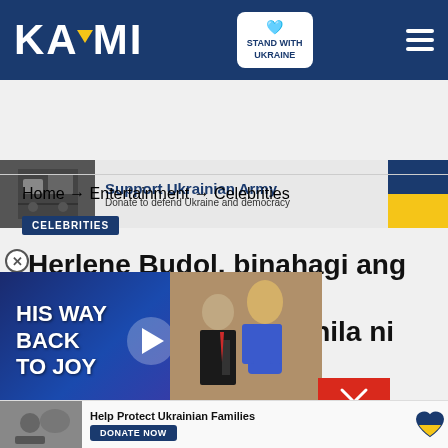KAMI — Stand With Ukraine
[Figure (infographic): Advertisement banner: Support Ukrainian Army — Donate to defend Ukraine and democracy, with Ukrainian flag colors]
Home → Entertainment → Celebrities
CELEBRITIES
Herlene Budol, binahagi ang isang sagutan nila ni
[Figure (screenshot): Video overlay showing HIS WAY BACK TO JOY with play button, and a photo of a man in suit with a blond woman]
[Figure (infographic): Bottom advertisement: Help Protect Ukrainian Families — DONATE NOW with heart icon in Ukrainian colors]